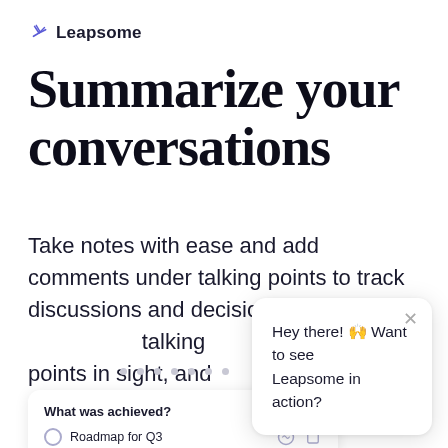Leapsome
Summarize your conversations
Take notes with ease and add comments under talking points to track discussions and decisions. Keep unresolved talking points in sight, and past meeting notes
[Figure (screenshot): Chat popup overlay with Leapsome bird icon, close button, and text: Hey there! 🙌 Want to see Leapsome in action?]
[Figure (screenshot): Pagination dots row with 7 dots]
[Figure (screenshot): Card UI showing 'What was achieved?' with a list item 'Roadmap for Q3' and action icons]
[Figure (screenshot): Floating action button (FAB) with chat icon in purple]